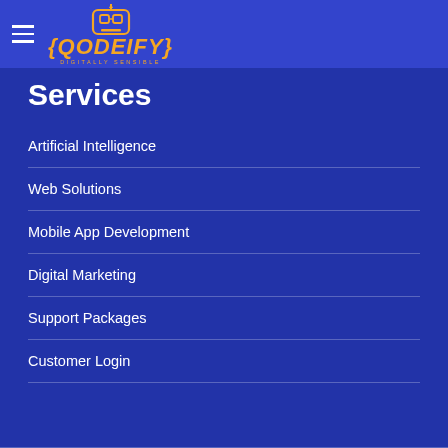Qodeify — Digitally Sensible
Services
Artificial Intelligence
Web Solutions
Mobile App Development
Digital Marketing
Support Packages
Customer Login